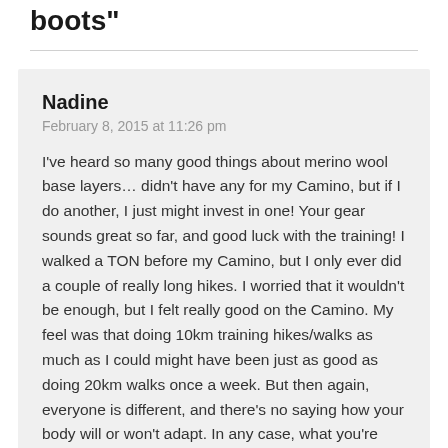boots"
Nadine
February 8, 2015 at 11:26 pm

I've heard so many good things about merino wool base layers… didn't have any for my Camino, but if I do another, I just might invest in one! Your gear sounds great so far, and good luck with the training! I walked a TON before my Camino, but I only ever did a couple of really long hikes. I worried that it wouldn't be enough, but I felt really good on the Camino. My feel was that doing 10km training hikes/walks as much as I could might have been just as good as doing 20km walks once a week. But then again, everyone is different, and there's no saying how your body will or won't adapt. In any case, what you're doing so far sounds great, good